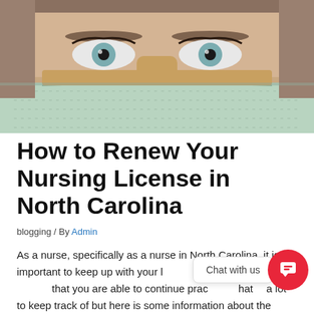[Figure (photo): Close-up photo of a medical professional wearing a surgical/face mask, showing eyes with blue-green irises looking forward. The person appears to be wearing a light-colored mask and possibly a medical cap.]
How to Renew Your Nursing License in North Carolina
blogging / By Admin
As a nurse, specifically as a nurse in North Carolina, it is important to keep up with your license renewals to ensure that you are able to continue practicing. There is a lot to keep track of but here is some information about the